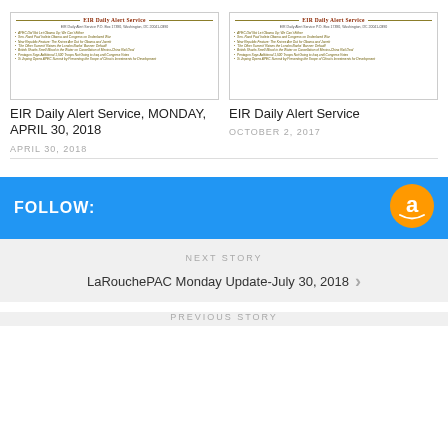[Figure (screenshot): Thumbnail of EIR Daily Alert Service newsletter dated Monday, April 30, 2018 with bullet list of article headlines]
[Figure (screenshot): Thumbnail of EIR Daily Alert Service newsletter dated October 2, 2017 with bullet list of article headlines]
EIR Daily Alert Service, MONDAY, APRIL 30, 2018
APRIL 30, 2018
EIR Daily Alert Service
OCTOBER 2, 2017
FOLLOW:
NEXT STORY
LaRouchePAC Monday Update-July 30, 2018
PREVIOUS STORY